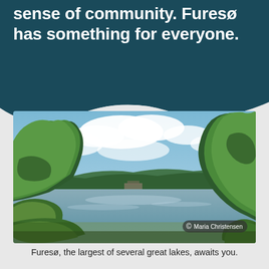sense of community. Furesø has something for everyone.
[Figure (photo): A scenic view of Furesø lake through trees, with blue sky and white clouds. Trees frame the lake on both sides. A waterfront structure is visible in the distance across the water. Copyright credit: Maria Christensen.]
Furesø, the largest of several great lakes, awaits you.